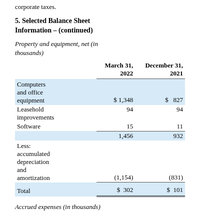corporate taxes.
5. Selected Balance Sheet Information – (continued)
Property and equipment, net (in thousands)
|  | March 31, 2022 | December 31, 2021 |
| --- | --- | --- |
| Computers and office equipment | $ 1,348 | $ 827 |
| Leasehold improvements | 94 | 94 |
| Software | 15 | 11 |
|  | 1,456 | 932 |
| Less: accumulated depreciation and amortization | (1,154) | (831) |
| Total | $ 302 | $ 101 |
Accrued expenses (in thousands)